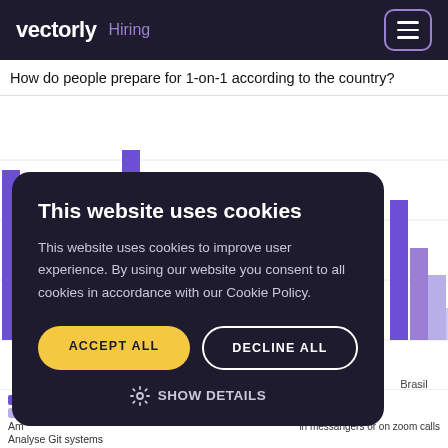vectorly   Hiring
How do people prepare for 1-on-1 according to the country?
[Figure (bar-chart): Grouped bar chart showing how people prepare for 1-on-1 meetings by country. Partially visible behind cookie consent modal. Countries visible include USA and Brasil.]
This website uses cookies
This website uses cookies to improve user experience. By using our website you consent to all cookies in accordance with our Cookie Policy.
ACCEPT ALL
DECLINE ALL
SHOW DETAILS
Analyse Git systems